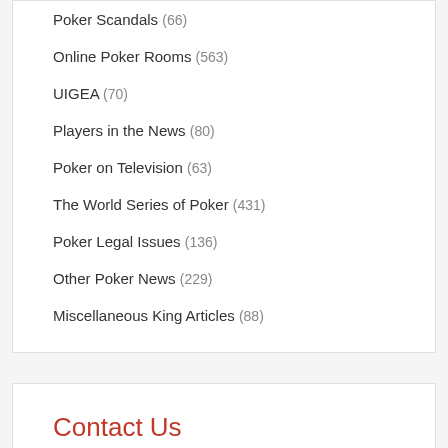Poker Scandals (66)
Online Poker Rooms (563)
UIGEA (70)
Players in the News (80)
Poker on Television (63)
The World Series of Poker (431)
Poker Legal Issues (136)
Other Poker News (229)
Miscellaneous King Articles (88)
Contact Us
Contact Us